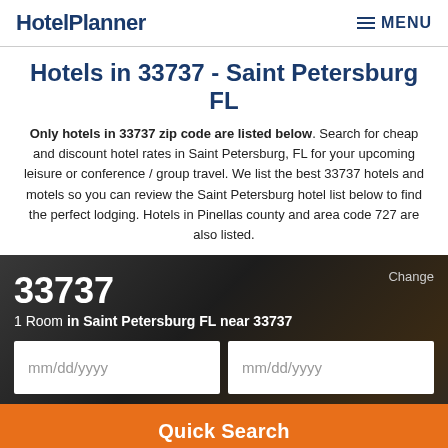HotelPlanner | MENU
Hotels in 33737 - Saint Petersburg FL
Only hotels in 33737 zip code are listed below. Search for cheap and discount hotel rates in Saint Petersburg, FL for your upcoming leisure or conference / group travel. We list the best 33737 hotels and motels so you can review the Saint Petersburg hotel list below to find the perfect lodging. Hotels in Pinellas county and area code 727 are also listed.
33737
1 Room in Saint Petersburg FL near 33737
mm/dd/yyyy | mm/dd/yyyy
Quick Search